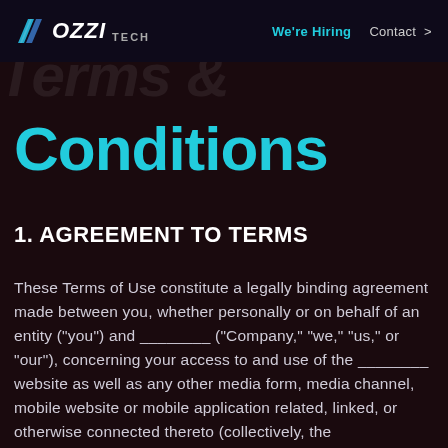OZZI TECH | We're Hiring | Contact >
Terms & Conditions
1. AGREEMENT TO TERMS
These Terms of Use constitute a legally binding agreement made between you, whether personally or on behalf of an entity ("you") and ________ ("Company," "we," "us," or "our"), concerning your access to and use of the ________ website as well as any other media form, media channel, mobile website or mobile application related, linked, or otherwise connected thereto (collectively, the